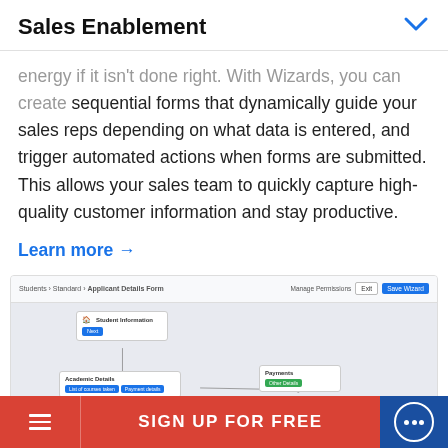Sales Enablement
energy if it isn't done right. With Wizards, you can create sequential forms that dynamically guide your sales reps depending on what data is entered, and trigger automated actions when forms are submitted. This allows your sales team to quickly capture high-quality customer information and stay productive.
Learn more →
[Figure (screenshot): Screenshot of a Wizard form builder UI showing an 'Applicant Details Form' with connected nodes: Student Information, Academic Details (with List of courses taken and Payment details buttons), and Payments (with Other Details button), and a Non-US resident node partially visible. Toolbar shows Students > Standard > Applicant Details Form breadcrumb, with Manage Permissions, Exit, and Save Wizard buttons.]
SIGN UP FOR FREE